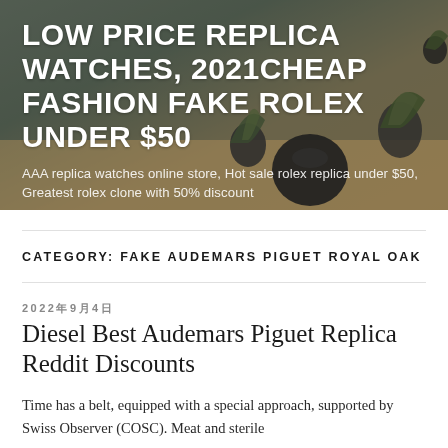[Figure (photo): Hero banner image with dark overlay showing plants and decorative objects on a wooden table, with large white bold title text and subtitle text overlaid]
LOW PRICE REPLICA WATCHES, 2021CHEAP FASHION FAKE ROLEX UNDER $50
AAA replica watches online store, Hot sale rolex replica under $50, Greatest rolex clone with 50% discount
CATEGORY: FAKE AUDEMARS PIGUET ROYAL OAK
2022年9月4日
Diesel Best Audemars Piguet Replica Reddit Discounts
Time has a belt, equipped with a special approach, supported by Swiss Observer (COSC). Meat and sterile